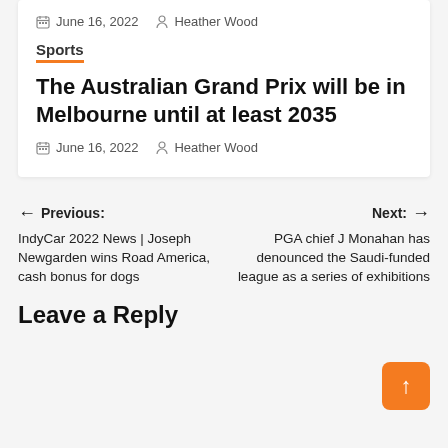June 16, 2022   Heather Wood
Sports
The Australian Grand Prix will be in Melbourne until at least 2035
June 16, 2022   Heather Wood
← Previous: IndyCar 2022 News | Joseph Newgarden wins Road America, cash bonus for dogs
Next: → PGA chief J Monahan has denounced the Saudi-funded league as a series of exhibitions
Leave a Reply